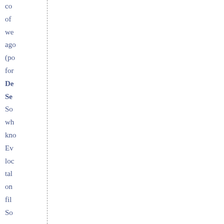co
of
we
ago
(po
for
De
Ser
So
wh
kno
Ev
loc
tal
on
fil
So
my
cel
(d